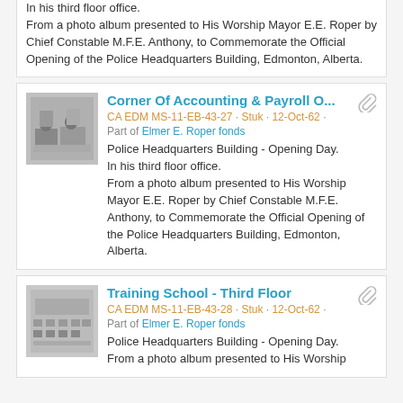In his third floor office. From a photo album presented to His Worship Mayor E.E. Roper by Chief Constable M.F.E. Anthony, to Commemorate the Official Opening of the Police Headquarters Building, Edmonton, Alberta.
[Figure (photo): Black and white photo of office corner with people at desks]
Corner Of Accounting & Payroll O...
CA EDM MS-11-EB-43-27 · Stuk · 12-Oct-62 ·
Part of Elmer E. Roper fonds
Police Headquarters Building - Opening Day. In his third floor office. From a photo album presented to His Worship Mayor E.E. Roper by Chief Constable M.F.E. Anthony, to Commemorate the Official Opening of the Police Headquarters Building, Edmonton, Alberta.
[Figure (photo): Black and white photo of training school room with chairs and desks]
Training School - Third Floor
CA EDM MS-11-EB-43-28 · Stuk · 12-Oct-62 ·
Part of Elmer E. Roper fonds
Police Headquarters Building - Opening Day. From a photo album presented to His Worship